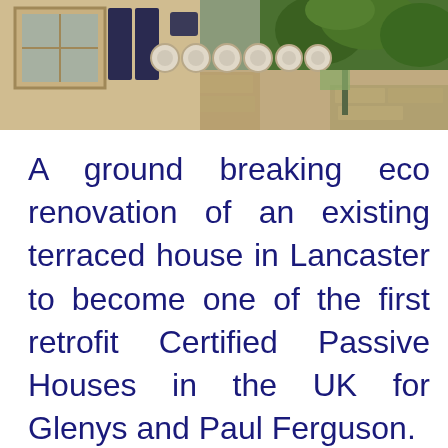[Figure (photo): Photograph of a stone terraced house exterior showing windows with dark shutters, circular ventilation units mounted on the wall, and trees/stone wall in the background]
A ground breaking eco renovation of an existing terraced house in Lancaster to become one of the first retrofit Certified Passive Houses in the UK for Glenys and Paul Ferguson.